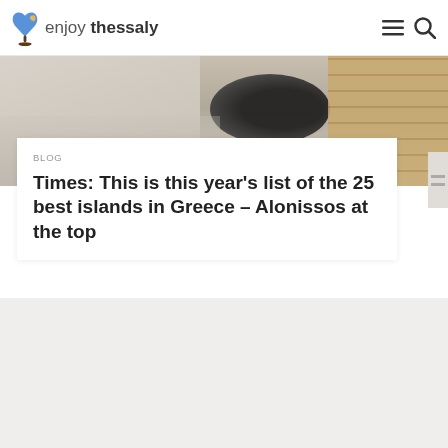enjoy thessaly
[Figure (photo): Partial outdoor scene with dark stones/pebbles and a stone wall visible at top of page, cropped view]
BLOG
Times: This is this year's list of the 25 best islands in Greece – Alonissos at the top
[Figure (photo): Light gray/beige placeholder area below the article card]